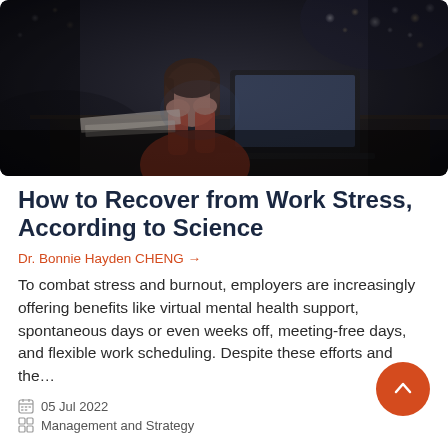[Figure (photo): A woman sitting at a desk at night, stressed, with her hands on her face, a laptop open in front of her, in a dark office with bokeh lights in the background.]
How to Recover from Work Stress, According to Science
Dr. Bonnie Hayden CHENG →
To combat stress and burnout, employers are increasingly offering benefits like virtual mental health support, spontaneous days or even weeks off, meeting-free days, and flexible work scheduling. Despite these efforts and the…
05 Jul 2022
Management and Strategy